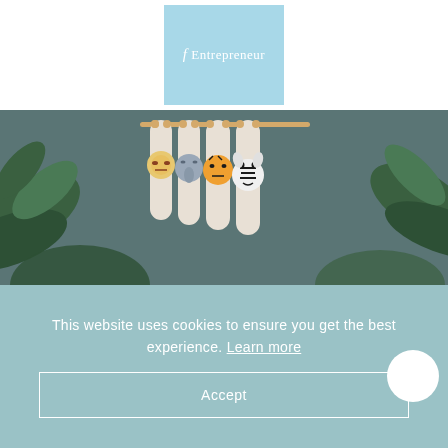[Figure (logo): fEntrepreneur logo in light blue square]
[Figure (photo): Baby bibs with animal faces hanging on a wooden rack, surrounded by tropical leaves]
This website uses cookies to ensure you get the best experience. Learn more
Accept